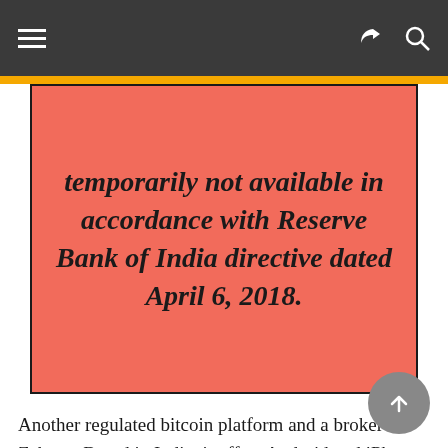temporarily not available in accordance with Reserve Bank of India directive dated April 6, 2018.
Another regulated bitcoin platform and a broker is Zebpay. Based in India, it offers Android and iPhone apps for BTC purchases through connected bank account. The fees are not shown transparently but are rather part of the purchase price.